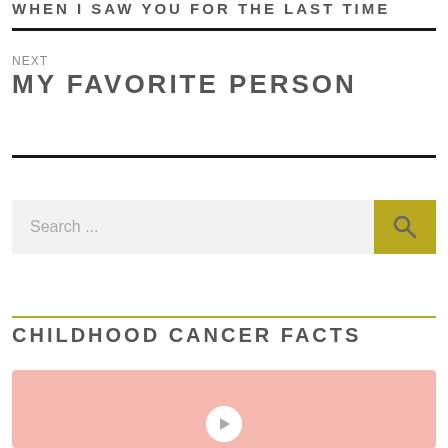WHEN I SAW YOU FOR THE LAST TIME
NEXT
MY FAVORITE PERSON
Search ...
CHILDHOOD CANCER FACTS
[Figure (photo): Pink block image placeholder with play button at bottom center]